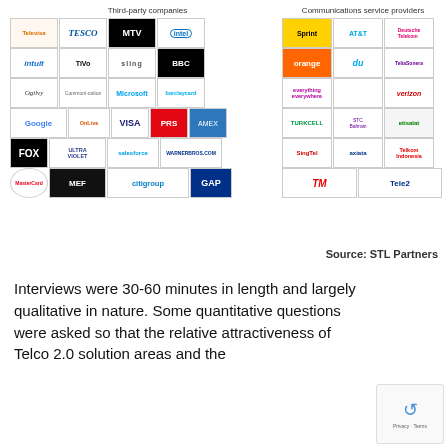[Figure (infographic): Two-column grid of company logos. Left column headed 'Third-party companies' includes: Televisa, Tesco, MTV, Intel, Intuit, TiVo, Sling, BBC, Ogilvy, (unnamed), Microsoft, Barclaycard, Google, OnLive, Visa, PRS, American Express, FOX, UltraViolet, Salesforce, WarnerBros.com, MasterCard, MEF, Citigroup, GAP. Right column headed 'Communications service providers' includes: Sprint, AT&T, Deutsche Telekom, Orange, du, TeliaSonera, Everything Everywhere, Verizon, Turkcell, STC Bahrain, Etisalat, SingTel, Axiata, Telkom Indonesia, TM, Tele2.]
Source: STL Partners
Interviews were 30-60 minutes in length and largely qualitative in nature. Some quantitative questions were asked so that the relative attractiveness of Telco 2.0 solution areas and the